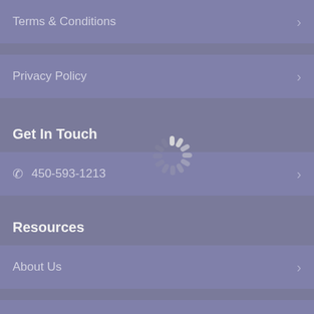Terms & Conditions
Privacy Policy
Get In Touch
450-593-1213
Resources
About Us
Customer Service
Contact Us
[Figure (infographic): Loading spinner (circular spinner animation indicator) centered over the phone number menu item area]